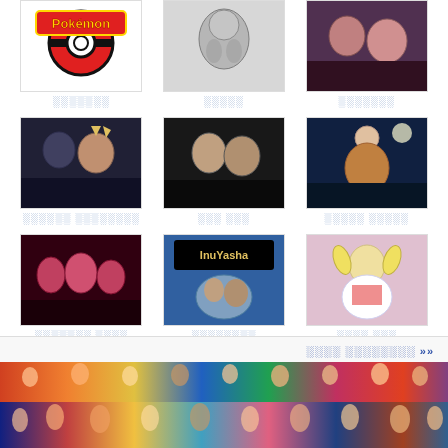[Figure (other): Grid of anime series thumbnails with Japanese-script labels: 3x3 grid showing Pokemon, a grayscale anime image, a colorful character group, Naruto characters, Death Note characters, Bleach characters, a red/dark anime group, InuYasha, and Sailor Moon]
►► ░░░░ ░░░░░░░░
[Figure (photo): Wide banner with colorful anime characters crowded together]
[Figure (photo): Wide banner with colorful anime characters crowded together - second strip]